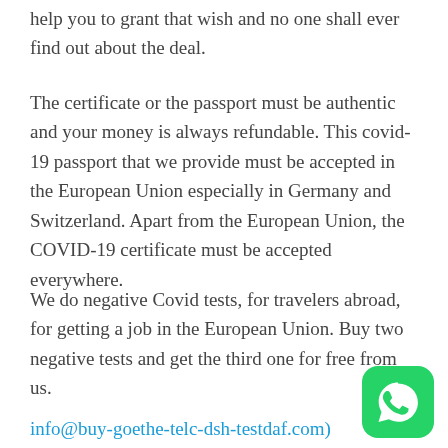help you to grant that wish and no one shall ever find out about the deal.
The certificate or the passport must be authentic and your money is always refundable. This covid-19 passport that we provide must be accepted in the European Union especially in Germany and Switzerland. Apart from the European Union, the COVID-19 certificate must be accepted everywhere.
We do negative Covid tests, for travelers abroad, for getting a job in the European Union. Buy two negative tests and get the third one for free from us.
info@buy-goethe-telc-dsh-testdaf.com)
[Figure (logo): WhatsApp logo — green rounded square with white phone handset icon]